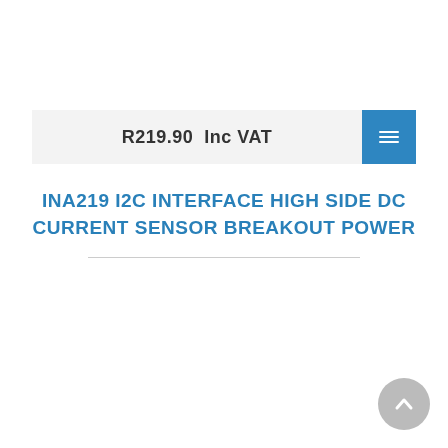R219.90  Inc VAT
INA219 I2C INTERFACE HIGH SIDE DC CURRENT SENSOR BREAKOUT POWER